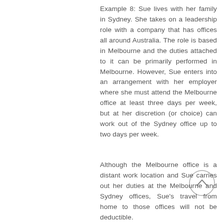Example 8: Sue lives with her family in Sydney. She takes on a leadership role with a company that has offices all around Australia. The role is based in Melbourne and the duties attached to it can be primarily performed in Melbourne. However, Sue enters into an arrangement with her employer where she must attend the Melbourne office at least three days per week, but at her discretion (or choice) can work out of the Sydney office up to two days per week.
Although the Melbourne office is a distant work location and Sue carries out her duties at the Melbourne and Sydney offices, Sue's travel from home to those offices will not be deductible.